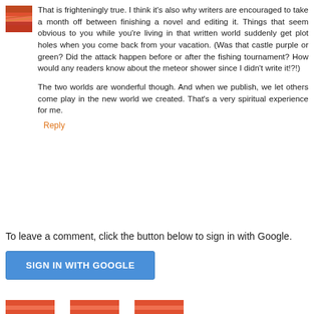That is frighteningly true. I think it's also why writers are encouraged to take a month off between finishing a novel and editing it. Things that seem obvious to you while you're living in that written world suddenly get plot holes when you come back from your vacation. (Was that castle purple or green? Did the attack happen before or after the fishing tournament? How would any readers know about the meteor shower since I didn't write it!?!)
The two worlds are wonderful though. And when we publish, we let others come play in the new world we created. That's a very spiritual experience for me.
Reply
To leave a comment, click the button below to sign in with Google.
SIGN IN WITH GOOGLE